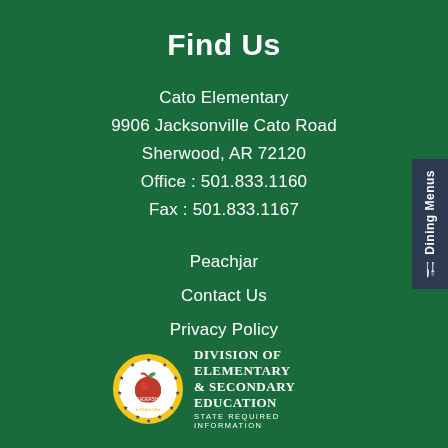Find Us
Cato Elementary
9906 Jacksonville Cato Road
Sherwood, AR 72120
Office: 501.833.1160
Fax: 501.833.1167
Peachjar
Contact Us
Privacy Policy
[Figure (logo): Division of Elementary & Secondary Education seal with star border and apple icon, with text 'Division of Elementary & Secondary Education - State Required Information']